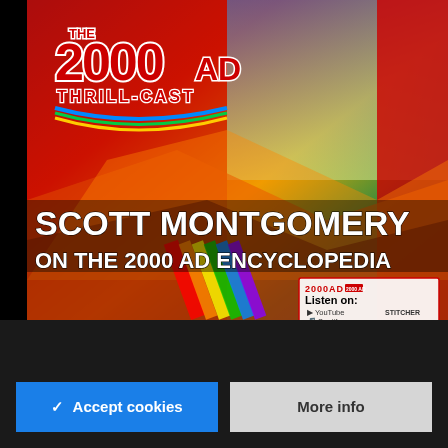[Figure (illustration): 2000 AD Thrill-Cast podcast cover art featuring comic book characters with bold red background. Title reads 'SCOTT MONTGOMERY ON THE 2000 AD ENCYCLOPEDIA'. Includes 2000AD logo, 'Listen on' box with YouTube, Stitcher, Spotify, SoundCloud, Apple Podcasts listed.]
We use cookies to analyse the traffic on our website, which helps us make it easier to use.
✓ Accept cookies
More info